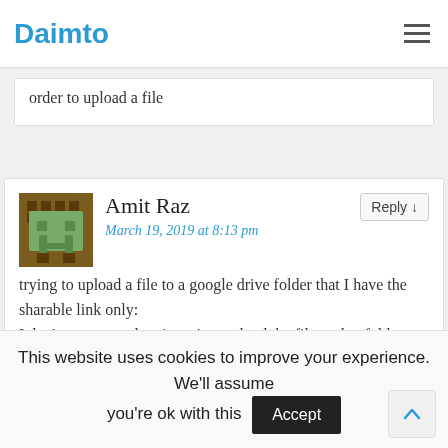Daimto
order to upload a file
Amit Raz
March 19, 2019 at 8:13 pm
trying to upload a file to a google drive folder that I have the sharable link only:
I don't want to authenticate just upload the file to that folder.
How can I do that using the DriveService?
Linda Lawton  Post author
This website uses cookies to improve your experience. We'll assume you're ok with this  Accept